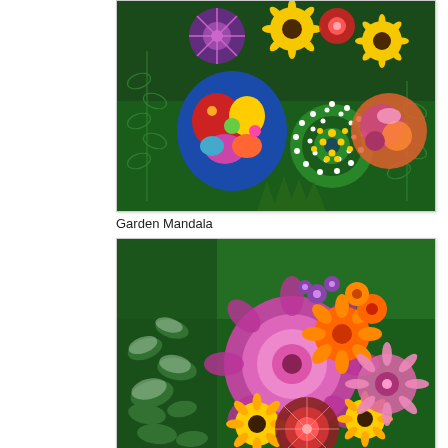[Figure (illustration): Colorful art illustration titled 'Garden Mandala' showing vibrant mandalas, sunflowers, and decorative orbs on a dark green background with leaf patterns and white dotted swirls.]
Garden Mandala
[Figure (illustration): Colorful art illustration showing a bouquet-like arrangement of bright flowers including sunflowers, purple and orange blooms, and decorative mandala-style flowers on a dark green background with foliage.]